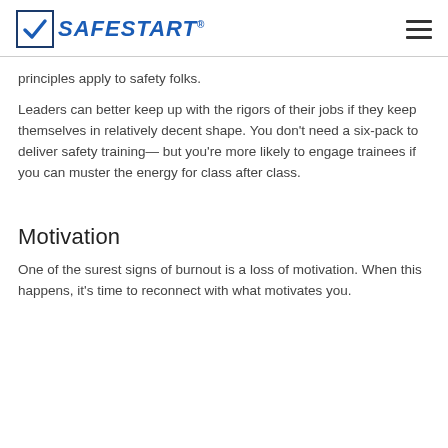SAFESTART
principles apply to safety folks.
Leaders can better keep up with the rigors of their jobs if they keep themselves in relatively decent shape. You don’t need a six-pack to deliver safety training— but you’re more likely to engage trainees if you can muster the energy for class after class.
Motivation
One of the surest signs of burnout is a loss of motivation. When this happens, it’s time to reconnect with what motivates you.